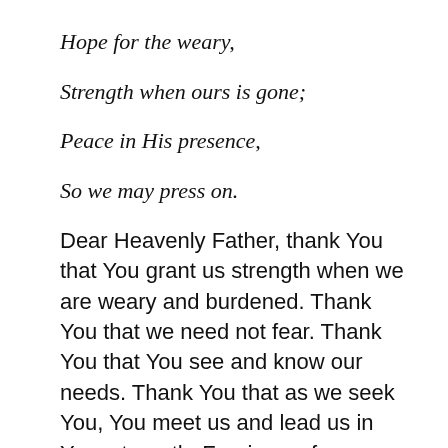Hope for the weary,
Strength when ours is gone;
Peace in His presence,
So we may press on.
Dear Heavenly Father, thank You that You grant us strength when we are weary and burdened. Thank You that we need not fear. Thank You that You see and know our needs. Thank You that as we seek You, You meet us and lead us in Your strength. Forgive us for staying stuck, even in the moment, as You are always available for us to seek You. Teach us to turn to You in trust, for You are faithful to be